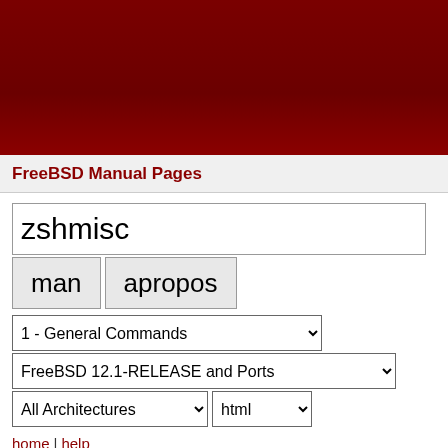[Figure (other): Dark red gradient banner header of FreeBSD website]
FreeBSD Manual Pages
zshmisc
man   apropos
1 - General Commands
FreeBSD 12.1-RELEASE and Ports
All Architectures   html
home | help
ZSHMISC(1)                        General Commands Manua
NAME
zshmisc - everything and then some